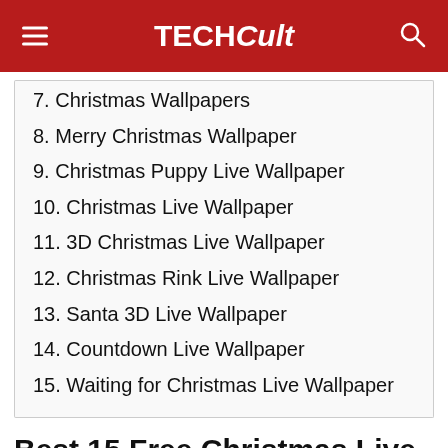TECHCult
7. Christmas Wallpapers
8. Merry Christmas Wallpaper
9. Christmas Puppy Live Wallpaper
10. Christmas Live Wallpaper
11. 3D Christmas Live Wallpaper
12. Christmas Rink Live Wallpaper
13. Santa 3D Live Wallpaper
14. Countdown Live Wallpaper
15. Waiting for Christmas Live Wallpaper
Best 15 Free Christmas Live Wallpaper for Android